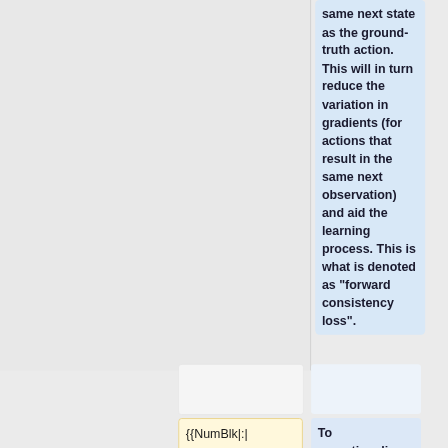same next state as the ground-truth action. This will in turn reduce the variation in gradients (for actions that result in the same next observation) and aid the learning process. This is what is denoted as "forward consistency loss".
{{NumBlk|:| <math>a_τ
To operationalize